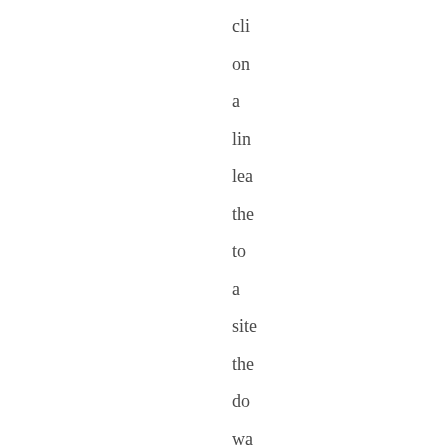cli on a lin lea the to a site the do wa the car eas cli bac to the